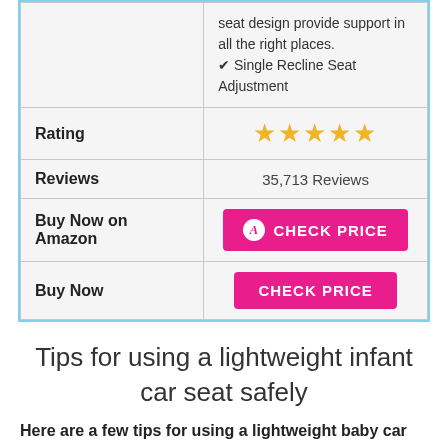|  | seat design provide support in all the right places.
✔ Single Recline Seat Adjustment |
| Rating | ★★★★★ |
| Reviews | 35,713 Reviews |
| Buy Now on Amazon | CHECK PRICE |
| Buy Now | CHECK PRICE |
Tips for using a lightweight infant car seat safely
Here are a few tips for using a lightweight baby car